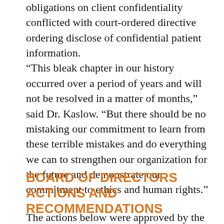obligations on client confidentiality conflicted with court-ordered directive ordering disclose of confidential patient information. “This bleak chapter in our history occurred over a period of years and will not be resolved in a matter of months,” said Dr. Kaslow. “But there should be no mistaking our commitment to learn from these terrible mistakes and do everything we can to strengthen our organization for the future and demonstrate our commitment to ethics and human rights.”
BOARD OF DIRECTORS ACTIONS AND RECOMMENDATIONS
The actions below were approved by the Board